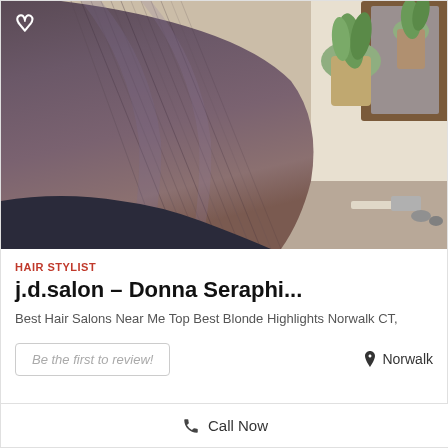[Figure (photo): Photo of a woman's long, straight, dark brownish-purple hair seen from behind in a salon setting, with potted plants and mirror visible in the background. A heart/favorite icon is shown in the top-left corner of the image.]
HAIR STYLIST
j.d.salon – Donna Seraphi...
Best Hair Salons Near Me Top Best Blonde Highlights Norwalk CT,
Be the first to review!
Norwalk
Call Now